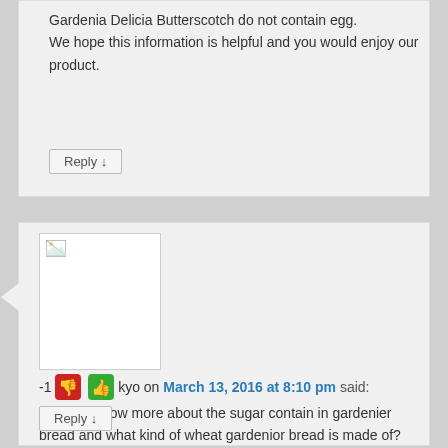Gardenia Delicia Butterscotch do not contain egg. We hope this information is helpful and you would enjoy our product.
Reply ↓
[Figure (photo): Broken image placeholder (avatar) in white box with gray border]
-1 [thumbs down] [thumbs up] kyo on March 13, 2016 at 8:10 pm said:
hi, may i know more about the sugar contain in gardenier bread and what kind of wheat gardenior bread is made of?
Reply ↓